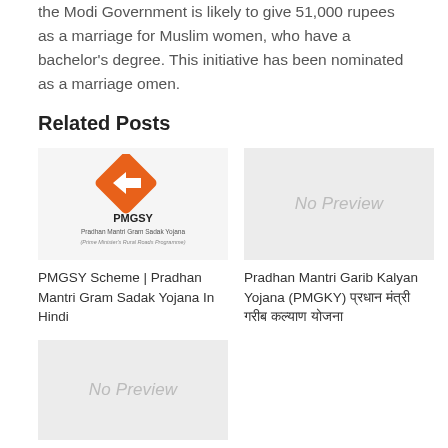the Modi Government is likely to give 51,000 rupees as a marriage for Muslim women, who have a bachelor's degree. This initiative has been nominated as a marriage omen.
Related Posts
[Figure (logo): PMGSY - Pradhan Mantri Gram Sadak Yojana logo with orange diamond road sign and text]
PMGSY Scheme | Pradhan Mantri Gram Sadak Yojana In Hindi
[Figure (photo): No Preview placeholder image (grey background)]
Pradhan Mantri Garib Kalyan Yojana (PMGKY) प्रधान मंत्री गरीब कल्याण योजना
[Figure (photo): No Preview placeholder image (grey background)]